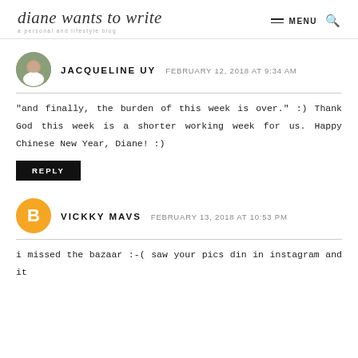diane wants to write — a personal and lifestyle blog — MENU
JACQUELINE UY   FEBRUARY 12, 2018 AT 9:34 AM
"and finally, the burden of this week is over." :) Thank God this week is a shorter working week for us. Happy Chinese New Year, Diane! :)
REPLY
VICKKY MAVS   FEBRUARY 13, 2018 AT 10:53 PM
i missed the bazaar :-( saw your pics din in instagram and it